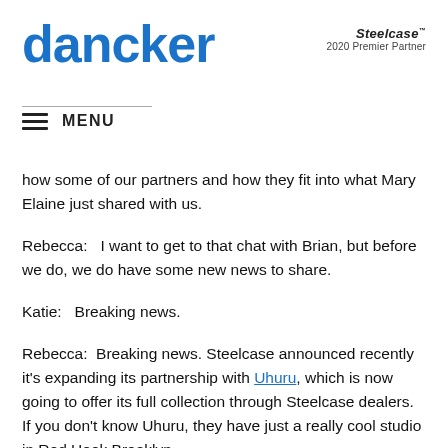dancker | Steelcase 2020 Premier Partner
how some of our partners and how they fit into what Mary Elaine just shared with us.
Rebecca:   I want to get to that chat with Brian, but before we do, we do have some new news to share.
Katie:   Breaking news.
Rebecca:  Breaking news. Steelcase announced recently it's expanding its partnership with Uhuru, which is now going to offer its full collection through Steelcase dealers. If you don't know Uhuru, they have just a really cool studio in Red Hook Brooklyn.